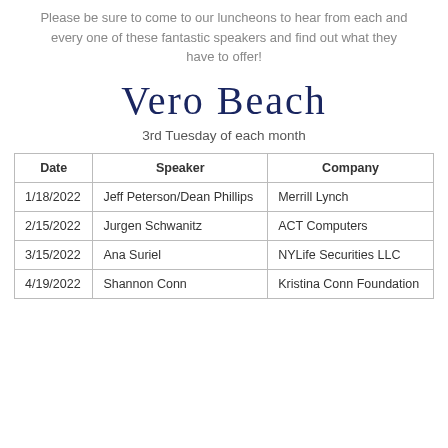Please be sure to come to our luncheons to hear from each and every one of these fantastic speakers and find out what they have to offer!
Vero Beach
3rd Tuesday of each month
| Date | Speaker | Company |
| --- | --- | --- |
| 1/18/2022 | Jeff Peterson/Dean Phillips | Merrill Lynch |
| 2/15/2022 | Jurgen Schwanitz | ACT Computers |
| 3/15/2022 | Ana Suriel | NYLife Securities LLC |
| 4/19/2022 | Shannon Conn | Kristina Conn Foundation |